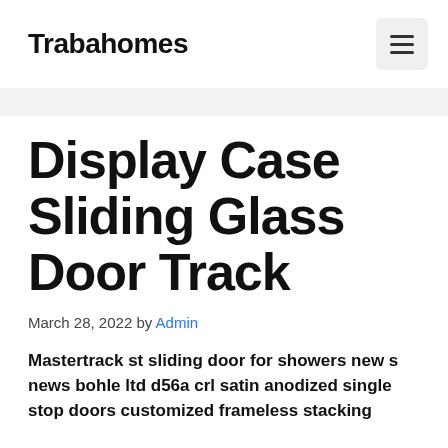Trabahomes
Display Case Sliding Glass Door Track
March 28, 2022 by Admin
Mastertrack st sliding door for showers new s news bohle ltd d56a crl satin anodized single stop doors customized frameless stacking